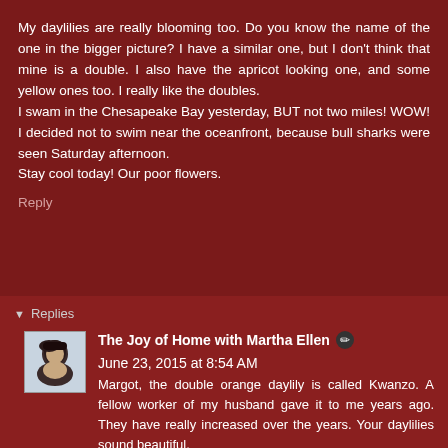My daylilies are really blooming too. Do you know the name of the one in the bigger picture? I have a similar one, but I don't think that mine is a double. I also have the apricot looking one, and some yellow ones too. I really like the doubles.
I swam in the Chesapeake Bay yesterday, BUT not two miles! WOW! I decided not to swim near the oceanfront, because bull sharks were seen Saturday afternoon.
Stay cool today! Our poor flowers.
Reply
Replies
The Joy of Home with Martha Ellen ✏ June 23, 2015 at 8:54 AM
Margot, the double orange daylily is called Kwanzo. A fellow worker of my husband gave it to me years ago. They have really increased over the years. Your daylilies sound beautiful.
You are so lucky to have a great place to swim. I hope you don't swim alone. Be careful. It's